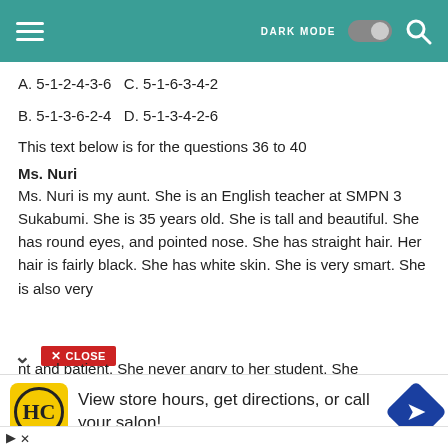DARK MODE [toggle] [search]
A. 5-1-2-4-3-6   C. 5-1-6-3-4-2
B. 5-1-3-6-2-4   D. 5-1-3-4-2-6
This text below is for the questions 36 to 40
Ms. Nuri
Ms. Nuri is my aunt. She is an English teacher at SMPN 3 Sukabumi. She is 35 years old. She is tall and beautiful. She has round eyes, and pointed nose. She has straight hair. Her hair is fairly black. She has white skin. She is very smart. She is also very
nt and patient. She never angry to her student. She
[Figure (screenshot): CLOSE button overlay in red]
View store hours, get directions, or call your salon!